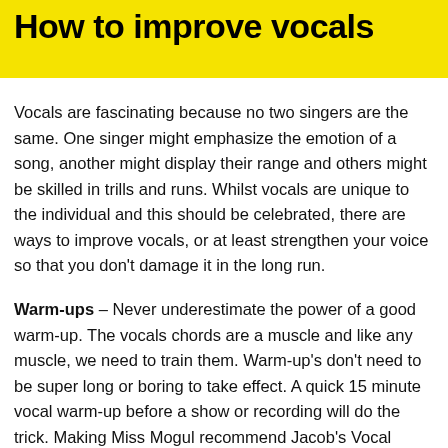How to improve vocals
Vocals are fascinating because no two singers are the same. One singer might emphasize the emotion of a song, another might display their range and others might be skilled in trills and runs. Whilst vocals are unique to the individual and this should be celebrated, there are ways to improve vocals, or at least strengthen your voice so that you don't damage it in the long run.
Warm-ups – Never underestimate the power of a good warm-up. The vocals chords are a muscle and like any muscle, we need to train them. Warm-up's don't need to be super long or boring to take effect. A quick 15 minute vocal warm-up before a show or recording will do the trick. Making Miss Mogul recommend Jacob's Vocal Academy on